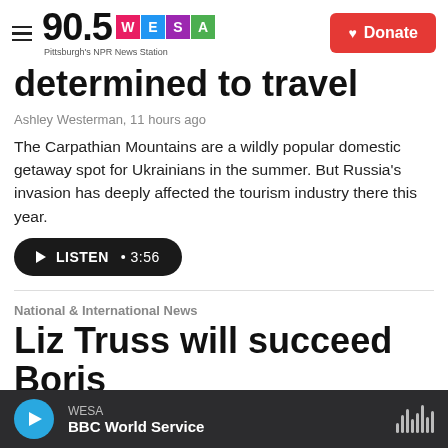90.5 WESA Pittsburgh's NPR News Station | Donate
determined to travel
Ashley Westerman, 11 hours ago
The Carpathian Mountains are a wildly popular domestic getaway spot for Ukrainians in the summer. But Russia's invasion has deeply affected the tourism industry there this year.
LISTEN • 3:56
National & International News
Liz Truss will succeed Boris Johnson as the U.K.'s next
WESA BBC World Service